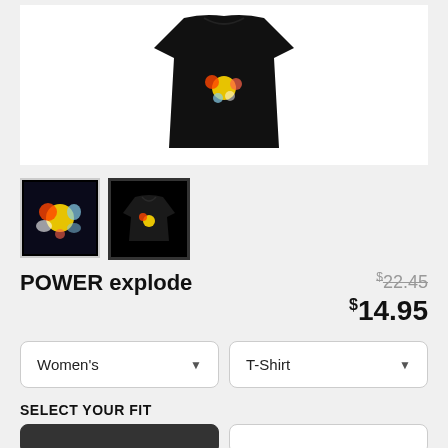[Figure (photo): Main product image showing a black t-shirt with POWER explode graphic on white background]
[Figure (photo): Thumbnail 1: graphic design closeup with colorful explosion on dark background]
[Figure (photo): Thumbnail 2: black t-shirt product view, selected/active]
POWER explode
$22.45 (original price, strikethrough) $14.95 (sale price)
Women's (dropdown) | T-Shirt (dropdown)
SELECT YOUR FIT